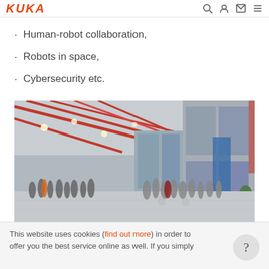KUKA
Human-robot collaboration,
Robots in space,
Cybersecurity etc.
[Figure (photo): Wide indoor exhibition hall with red steel structure roof. Groups of people standing and walking on a reflective floor. Large display panels and banners on the walls. A blue panel and green plants visible on the right side.]
This website uses cookies (find out more) in order to offer you the best service online as well. If you simply